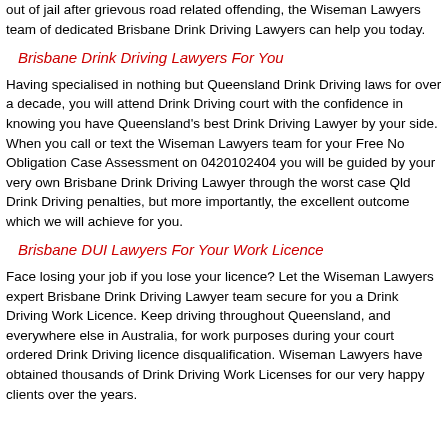out of jail after grievous road related offending, the Wiseman Lawyers team of dedicated Brisbane Drink Driving Lawyers can help you today.
Brisbane Drink Driving Lawyers For You
Having specialised in nothing but Queensland Drink Driving laws for over a decade, you will attend Drink Driving court with the confidence in knowing you have Queensland's best Drink Driving Lawyer by your side. When you call or text the Wiseman Lawyers team for your Free No Obligation Case Assessment on 0420102404 you will be guided by your very own Brisbane Drink Driving Lawyer through the worst case Qld Drink Driving penalties, but more importantly, the excellent outcome which we will achieve for you.
Brisbane DUI Lawyers For Your Work Licence
Face losing your job if you lose your licence? Let the Wiseman Lawyers expert Brisbane Drink Driving Lawyer team secure for you a Drink Driving Work Licence. Keep driving throughout Queensland, and everywhere else in Australia, for work purposes during your court ordered Drink Driving licence disqualification. Wiseman Lawyers have obtained thousands of Drink Driving Work Licenses for our very happy clients over the years.